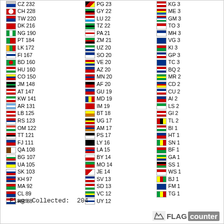| Flag | Code | Count | Flag | Code | Count | Flag | Code | Count |
| --- | --- | --- | --- | --- | --- | --- | --- | --- |
| [flag] | CZ | 232 | [flag] | PG | 23 | [flag] | KG | 3 |
| [flag] | CH | 228 | [flag] | GY | 22 | [flag] | ME | 3 |
| [flag] | TW | 220 | [flag] | LU | 22 | [flag] | GM | 3 |
| [flag] | DK | 216 | [flag] | TZ | 22 | [flag] | TO | 3 |
| [flag] | NG | 190 | [flag] | PA | 21 | [flag] | MH | 3 |
| [flag] | PT | 184 | [flag] | ZM | 21 | [flag] | VG | 3 |
| [flag] | LK | 172 | [flag] | UZ | 20 | [flag] | KI | 3 |
| [flag] | FI | 167 | [flag] | SO | 20 | [flag] | GP | 3 |
| [flag] | BD | 160 | [flag] | VE | 20 | [flag] | TC | 3 |
| [flag] | HU | 160 | [flag] | AZ | 20 | [flag] | BQ | 2 |
| [flag] | CO | 150 | [flag] | MN | 20 | [flag] | MR | 2 |
| [flag] | JM | 148 | [flag] | AF | 20 | [flag] | CD | 2 |
| [flag] | AT | 147 | [flag] | GU | 19 | [flag] | CU | 2 |
| [flag] | KW | 141 | [flag] | MD | 19 | [flag] | AI | 2 |
| [flag] | AR | 131 | [flag] | IM | 19 | [flag] | LS | 2 |
| [flag] | LB | 125 | [flag] | BT | 18 | [flag] | GI | 2 |
| [flag] | RS | 123 | [flag] | UG | 17 | [flag] | TL | 2 |
| [flag] | OM | 122 | [flag] | AM | 17 | [flag] | BI | 1 |
| [flag] | TT | 121 | [flag] | PS | 17 | [flag] | HT | 1 |
| [flag] | FJ | 111 | [flag] | LY | 16 | [flag] | SN | 1 |
| [flag] | QA | 108 | [flag] | LA | 15 | [flag] | BF | 1 |
| [flag] | BG | 107 | [flag] | BY | 14 | [flag] | GA | 1 |
| [flag] | UA | 105 | [flag] | MO | 14 | [flag] | SS | 1 |
| [flag] | SK | 103 | [flag] | JE | 14 | [flag] | WS | 1 |
| [flag] | KH | 97 | [flag] | SV | 13 | [flag] | BJ | 1 |
| [flag] | MA | 92 | [flag] | SD | 13 | [flag] | FM | 1 |
| [flag] | CL | 89 | [flag] | VC | 12 | [flag] | TG | 1 |
| [flag] | HR | 88 | [flag] | UY | 12 |  |  |  |
Flags Collected:  204
[Figure (logo): FLAG counter logo with icon]